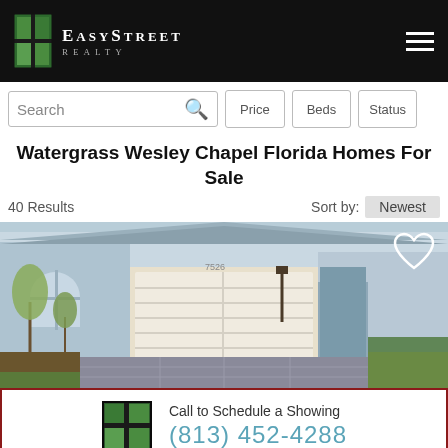EasyStreet Realty
Search | Price | Beds | Status
Watergrass Wesley Chapel Florida Homes For Sale
40 Results   Sort by: Newest
[Figure (photo): Photo of a light blue single-story Florida home with a two-car white garage door, paver driveway, and landscaped front yard with red mulch and small trees.]
Call to Schedule a Showing
(813) 452-4288